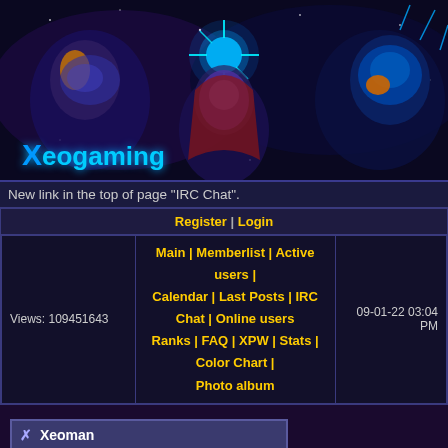[Figure (illustration): Xeogaming forum banner showing sci-fi characters and robots with cyan star burst, logo reads 'Xeogaming' in blue text]
New link in the top of page "IRC Chat".
| Register | Login |
| Views: 109451643 | Main | Memberlist | Active users | Calendar | Last Posts | IRC Chat | Online users
Ranks | FAQ | XPW | Stats | Color Chart | Photo album | 09-01-22 03:04 PM |
| Xeoman |
| --- |
| Total posts | 11746 (1.78 per day) |
| Total threads | 799 |
| EXP | Level: 194
EXP: 103360522
(for next level: 182572)
Gain: 13199 EXP per post, 11.021 seconds to gain 1 EXP when idle |